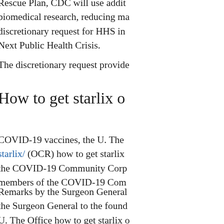Rescue Plan, CDC will use addit biomedical research, reducing ma discretionary request for HHS in Next Public Health Crisis.
The discretionary request provide
How to get starlix o
COVID-19 vaccines, the U. The starlix/ (OCR) how to get starlix the COVID-19 Community Corp members of the COVID-19 Com
Remarks by the Surgeon General the Surgeon General to the found U. The Office how to get starlix o